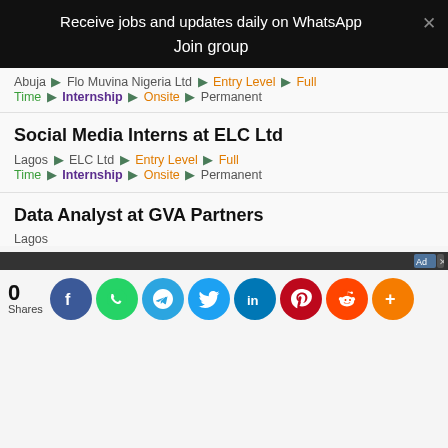Receive jobs and updates daily on WhatsApp
Join group
Abuja ▶ Flo Muvina Nigeria Ltd ▶ Entry Level ▶ Full Time ▶ Internship ▶ Onsite ▶ Permanent
Social Media Interns at ELC Ltd
Lagos ▶ ELC Ltd ▶ Entry Level ▶ Full Time ▶ Internship ▶ Onsite ▶ Permanent
Data Analyst at GVA Partners
Lagos
[Figure (screenshot): Advertisement banner strip with dark background and ad controls]
0 Shares — social share buttons: Facebook, WhatsApp, Telegram, Twitter, LinkedIn, Pinterest, Reddit, More